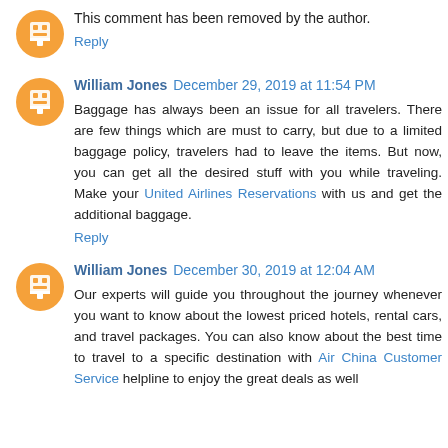This comment has been removed by the author.
Reply
William Jones  December 29, 2019 at 11:54 PM
Baggage has always been an issue for all travelers. There are few things which are must to carry, but due to a limited baggage policy, travelers had to leave the items. But now, you can get all the desired stuff with you while traveling. Make your United Airlines Reservations with us and get the additional baggage.
Reply
William Jones  December 30, 2019 at 12:04 AM
Our experts will guide you throughout the journey whenever you want to know about the lowest priced hotels, rental cars, and travel packages. You can also know about the best time to travel to a specific destination with Air China Customer Service helpline to enjoy the great deals as well